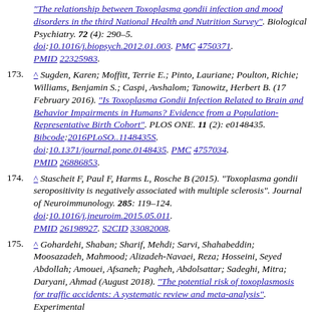^ [continuing ref] "The relationship between Toxoplasma gondii infection and mood disorders in the third National Health and Nutrition Survey". Biological Psychiatry. 72 (4): 290–5. doi:10.1016/j.biopsych.2012.01.003. PMC 4750371. PMID 22325983.
173. ^ Sugden, Karen; Moffitt, Terrie E.; Pinto, Lauriane; Poulton, Richie; Williams, Benjamin S.; Caspi, Avshalom; Tanowitz, Herbert B. (17 February 2016). "Is Toxoplasma Gondii Infection Related to Brain and Behavior Impairments in Humans? Evidence from a Population-Representative Birth Cohort". PLOS ONE. 11 (2): e0148435. Bibcode:2016PLoSO..1148435S. doi:10.1371/journal.pone.0148435. PMC 4757034. PMID 26886853.
174. ^ Stascheit F, Paul F, Harms L, Rosche B (2015). "Toxoplasma gondii seropositivity is negatively associated with multiple sclerosis". Journal of Neuroimmunology. 285: 119–124. doi:10.1016/j.jneuroim.2015.05.011. PMID 26198927. S2CID 33082008.
175. ^ Gohardehi, Shaban; Sharif, Mehdi; Sarvi, Shahabeddin; Moosazadeh, Mahmood; Alizadeh-Navaei, Reza; Hosseini, Seyed Abdollah; Amouei, Afsaneh; Pagheh, Abdolsattar; Sadeghi, Mitra; Daryani, Ahmad (August 2018). "The potential risk of toxoplasmosis for traffic accidents: A systematic review and meta-analysis". Experimental